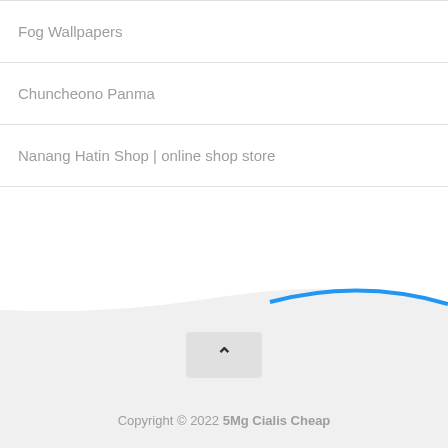Fog Wallpapers
Chuncheono Panma
Nanang Hatin Shop | online shop store
Copyright © 2022 5Mg Cialis Cheap